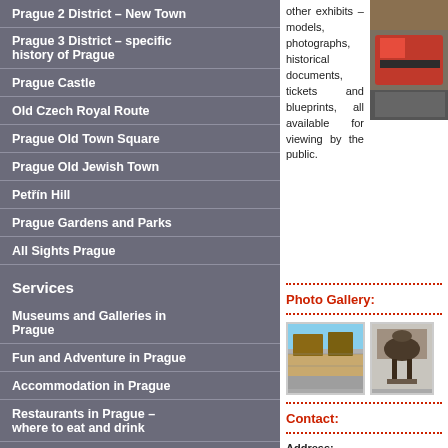Prague 2 District – New Town
Prague 3 District – specific history of Prague
Prague Castle
Old Czech Royal Route
Prague Old Town Square
Prague Old Jewish Town
Petřín Hill
Prague Gardens and Parks
All Sights Prague
Services
Museums and Galleries in Prague
Fun and Adventure in Prague
Accommodation in Prague
Restaurants in Prague – where to eat and drink
Prague
Prague
other exhibits – models, photographs, historical documents, tickets and blueprints, all available for viewing by the public.
[Figure (photo): Photo of a historic tram or transport exhibit displayed in a museum]
Photo Gallery:
[Figure (photo): Outdoor photo of a historic depot or transport facility with cobblestone courtyard]
[Figure (photo): Indoor photo of a horse sculpture or horse-drawn vehicle exhibit]
Contact:
Address:
Patočkova 4
160 00 Praha 6
GPS: 50°5′40.043″N, 14°23′18.165″E